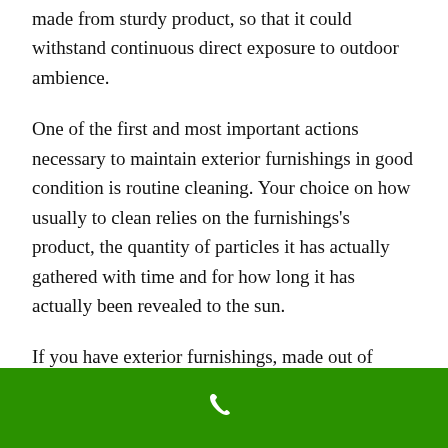made from sturdy product, so that it could withstand continuous direct exposure to outdoor ambience.
One of the first and most important actions necessary to maintain exterior furnishings in good condition is routine cleaning. Your choice on how usually to clean relies on the furnishings's product, the quantity of particles it has actually gathered with time and for how long it has actually been revealed to the sun.
If you have exterior furnishings, made out of rosewood (which occurs to be most frequently
[Figure (other): Green bar at the bottom of the page with a white phone/call icon in the center]